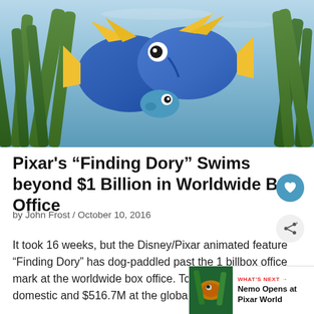[Figure (illustration): Pixar animated fish characters from Finding Dory — two large blue tang fish and one small blue fish, surrounded by green sea grass, from the Disney/Pixar movie Finding Dory]
Pixar's “Finding Dory” Swims beyond $1 Billion in Worldwide Box Office
by John Frost / October 10, 2016
It took 16 weeks, but the Disney/Pixar animated feature “Finding Dory” has dog-paddled past the 1 bill… box office mark at the worldwide box office. T… combined $484.8M domestic and $516.7M at the global